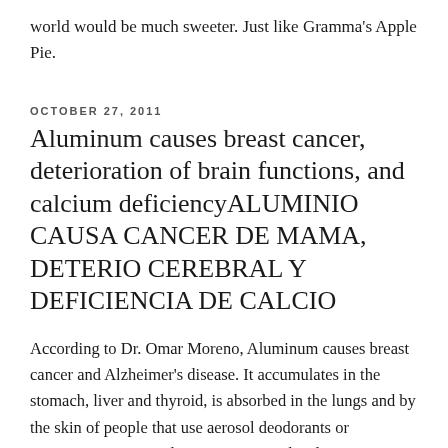world would be much sweeter. Just like Gramma's Apple Pie.
OCTOBER 27, 2011
Aluminum causes breast cancer, deterioration of brain functions, and calcium deficiencyALUMINIO CAUSA CANCER DE MAMA, DETERIO CEREBRAL Y DEFICIENCIA DE CALCIO
According to Dr. Omar Moreno, Aluminum causes breast cancer and Alzheimer's disease. It accumulates in the stomach, liver and thyroid, is absorbed in the lungs and by the skin of people that use aerosol deodorants or antiperspirants. Avoid antiperspirants, the aluminum pots, aluminum canned beverages, aspirins, antacids and toothpastes with aluminum, cheeses and refined flours